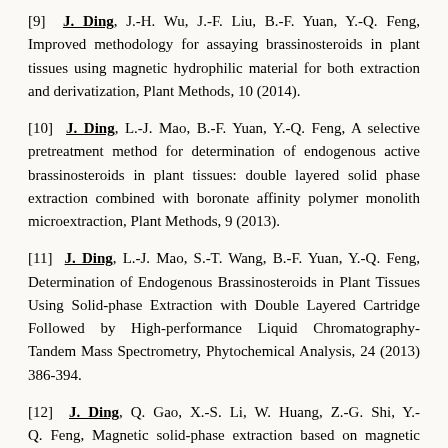[9] J. Ding, J.-H. Wu, J.-F. Liu, B.-F. Yuan, Y.-Q. Feng, Improved methodology for assaying brassinosteroids in plant tissues using magnetic hydrophilic material for both extraction and derivatization, Plant Methods, 10 (2014).
[10] J. Ding, L.-J. Mao, B.-F. Yuan, Y.-Q. Feng, A selective pretreatment method for determination of endogenous active brassinosteroids in plant tissues: double layered solid phase extraction combined with boronate affinity polymer monolith microextraction, Plant Methods, 9 (2013).
[11] J. Ding, L.-J. Mao, S.-T. Wang, B.-F. Yuan, Y.-Q. Feng, Determination of Endogenous Brassinosteroids in Plant Tissues Using Solid-phase Extraction with Double Layered Cartridge Followed by High-performance Liquid Chromatography-Tandem Mass Spectrometry, Phytochemical Analysis, 24 (2013) 386-394.
[12] J. Ding, Q. Gao, X.-S. Li, W. Huang, Z.-G. Shi, Y.-Q. Feng, Magnetic solid-phase extraction based on magnetic carbon nanotube for the determination of estrogens in milk, Journal of Separation Science, 34 (2011) 2498-2504.
[13] J. Ding, Q. Gao, D. Luo, Z.-G. Shi, Y.-Q. Feng, n-